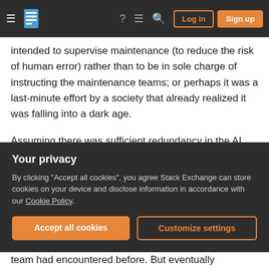Stack Exchange navigation bar with hamburger menu, logo, help, chat, search icons, Log in and Sign up buttons
intended to supervise maintenance (to reduce the risk of human error) rather than to be in sole charge of instructing the maintenance teams; or perhaps it was a last-minute effort by a society that already realized it was falling into a dark age.
Assuming there was sufficient redundancy in the AI systems, it would even have been able to instruct the maintenance teams how to repair faults in its own systems, as would inevitably have happened many times over the centuries. But sooner or later,
Your privacy
By clicking "Accept all cookies", you agree Stack Exchange can store cookies on your device and disclose information in accordance with our Cookie Policy.
Accept all cookies
Customize settings
team had encountered before. But eventually